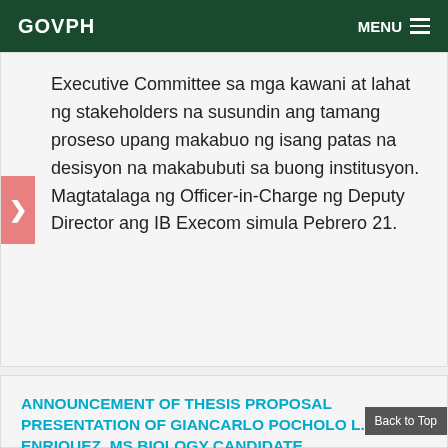GOVPH   MENU
Executive Committee sa mga kawani at lahat ng stakeholders na susundin ang tamang proseso upang makabuo ng isang patas na desisyon na makabubuti sa buong institusyon. Magtatalaga ng Officer-in-Charge ng Deputy Director ang IB Execom simula Pebrero 21.
ANNOUNCEMENT OF THESIS PROPOSAL PRESENTATION OF GIANCARLO POCHOLO L. ENRIQUEZ, MS BIOLOGY CANDIDATE
The Institute of Biology invites you to the Thesis Proposal Presentation of GIANCARLO POCHOLO